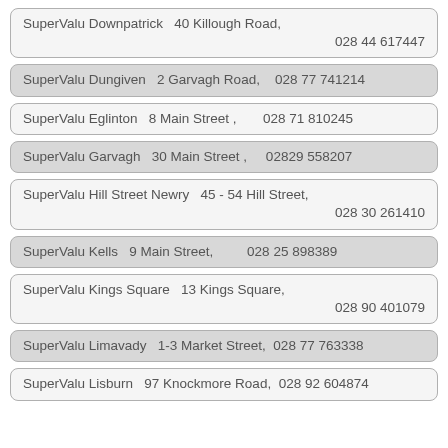SuperValu Downpatrick   40 Killough Road,
028 44 617447
SuperValu Dungiven   2 Garvagh Road,   028 77 741214
SuperValu Eglinton   8 Main Street ,   028 71 810245
SuperValu Garvagh   30 Main Street ,   02829 558207
SuperValu Hill Street Newry   45 - 54 Hill Street,
028 30 261410
SuperValu Kells   9 Main Street,   028 25 898389
SuperValu Kings Square   13 Kings Square,
028 90 401079
SuperValu Limavady   1-3 Market Street,   028 77 763338
SuperValu Lisburn   97 Knockmore Road,   028 92 604874